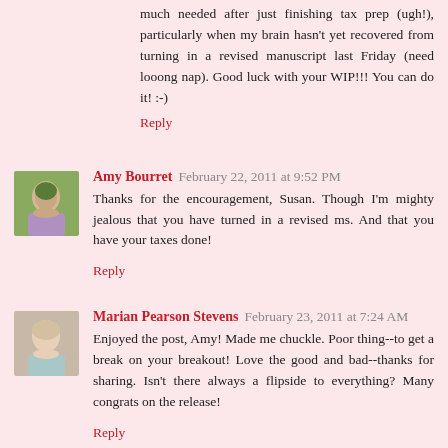much needed after just finishing tax prep (ugh!), particularly when my brain hasn't yet recovered from turning in a revised manuscript last Friday (need looong nap). Good luck with your WIP!!! You can do it! :-)
Reply
Amy Bourret  February 22, 2011 at 9:52 PM
Thanks for the encouragement, Susan. Though I'm mighty jealous that you have turned in a revised ms. And that you have your taxes done!
Reply
Marian Pearson Stevens  February 23, 2011 at 7:24 AM
Enjoyed the post, Amy! Made me chuckle. Poor thing--to get a break on your breakout! Love the good and bad--thanks for sharing. Isn't there always a flipside to everything? Many congrats on the release!
Reply